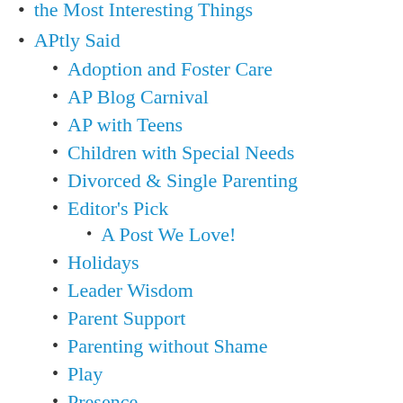the Most Interesting Things (partial, top)
APtly Said
Adoption and Foster Care
AP Blog Carnival
AP with Teens
Children with Special Needs
Divorced & Single Parenting
Editor's Pick
A Post We Love!
Holidays
Leader Wisdom
Parent Support
Parenting without Shame
Play
Presence
Principles
Engage in Nighttime Parenting (partial, bottom)